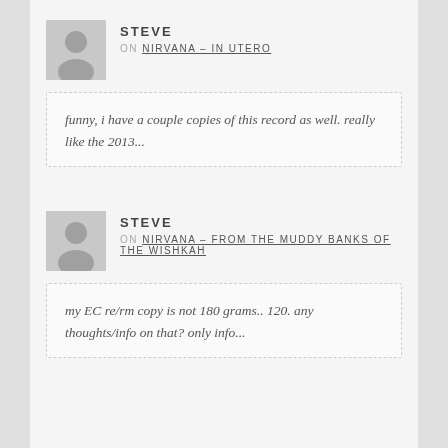STEVE
ON NIRVANA – IN UTERO
funny, i have a couple copies of this record as well. really like the 2013...
STEVE
ON NIRVANA – FROM THE MUDDY BANKS OF THE WISHKAH
my EC re/rm copy is not 180 grams.. 120. any thoughts/info on that? only info...